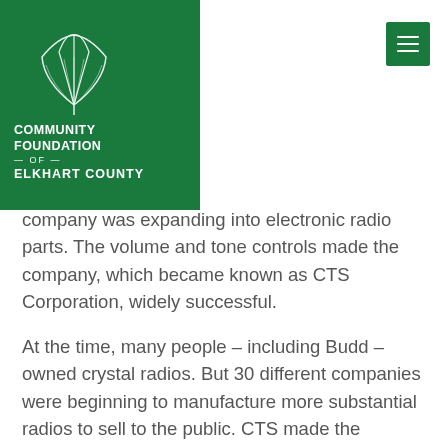[Figure (logo): Community Foundation of Elkhart County logo — green background with white ginkgo leaf illustration and white bold text]
company was expanding into electronic radio parts. The volume and tone controls made the company, which became known as CTS Corporation, widely successful.
At the time, many people – including Budd – owned crystal radios. But 30 different companies were beginning to manufacture more substantial radios to sell to the public. CTS made the controls for those radios.
With recognizable talent, Budd moved up through the ranks until he was in charge of the engineering department. The company had salesmen who